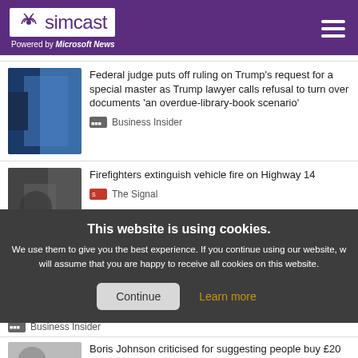simcast — Powered by Microsoft News
Federal judge puts off ruling on Trump's request for a special master as Trump lawyer calls refusal to turn over documents 'an overdue-library-book scenario'
Business Insider
Firefighters extinguish vehicle fire on Highway 14
The Signal
This website is using cookies. We use them to give you the best experience. If you continue using our website, we will assume that you are happy to receive all cookies on this website.
Continue
Learn more
Business Insider
Boris Johnson criticised for suggesting people buy £20 kettle to save £10 in electricity bills